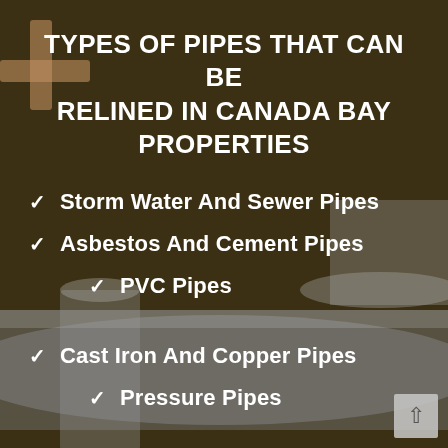TYPES OF PIPES THAT CAN BE RELINED IN CANADA BAY PROPERTIES
Storm Water And Sewer Pipes
Asbestos And Cement Pipes
PVC Pipes
Cast Iron And Copper Pipes
Pressure Pipes